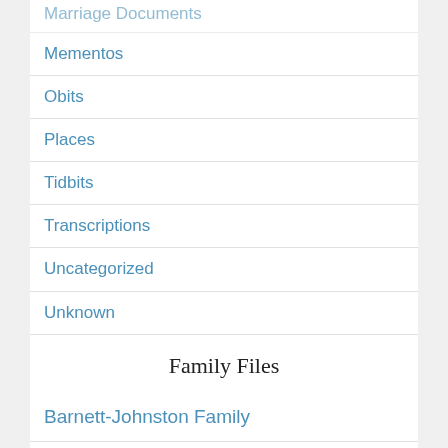Marriage Documents
Mementos
Obits
Places
Tidbits
Transcriptions
Uncategorized
Unknown
Family Files
Barnett-Johnston Family
Barnett-Rose Family
Beddo Family